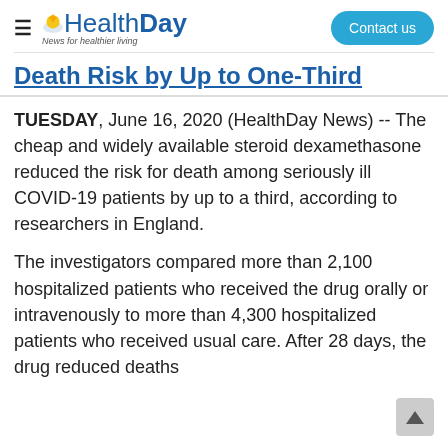HealthDay — News for healthier living | Contact us
Death Risk by Up to One-Third
TUESDAY, June 16, 2020 (HealthDay News) -- The cheap and widely available steroid dexamethasone reduced the risk for death among seriously ill COVID-19 patients by up to a third, according to researchers in England.
The investigators compared more than 2,100 hospitalized patients who received the drug orally or intravenously to more than 4,300 hospitalized patients who received usual care. After 28 days, the drug reduced deaths